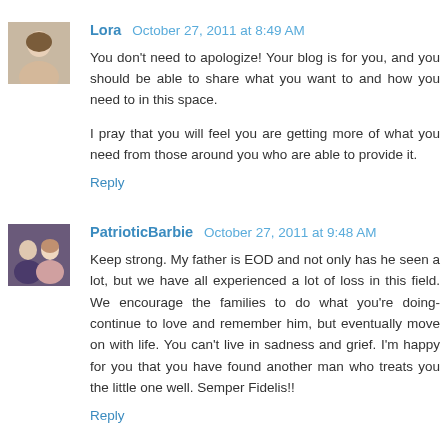[Figure (photo): Avatar photo of commenter Lora, a woman]
Lora October 27, 2011 at 8:49 AM
You don't need to apologize! Your blog is for you, and you should be able to share what you want to and how you need to in this space.

I pray that you will feel you are getting more of what you need from those around you who are able to provide it.
Reply
[Figure (photo): Avatar photo of commenter PatrioticBarbie, a couple]
PatrioticBarbie October 27, 2011 at 9:48 AM
Keep strong. My father is EOD and not only has he seen a lot, but we have all experienced a lot of loss in this field. We encourage the families to do what you're doing-continue to love and remember him, but eventually move on with life. You can't live in sadness and grief. I'm happy for you that you have found another man who treats you the little one well. Semper Fidelis!!
Reply